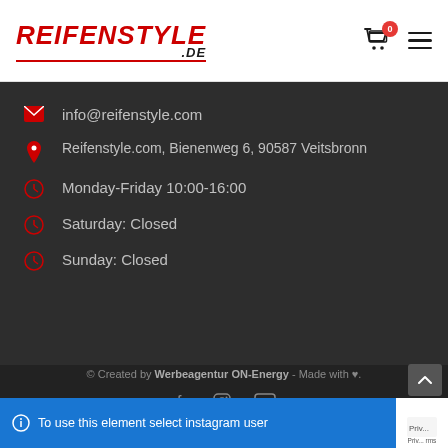[Figure (logo): Reifenstyle.de logo in italic bold uppercase black text with red underline]
info@reifenstyle.com
Reifenstyle.com, Bienenweg 6, 90587 Veitsbronn
Monday-Friday 10:00-16:00
Saturday: Closed
Sunday: Closed
© Created by Werbeagentur ON-Energy - Made with ♥.
To use this element select instagram user